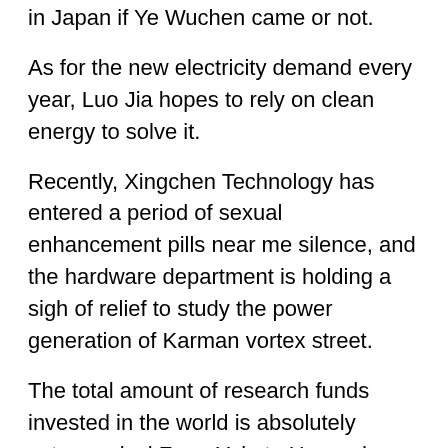in Japan if Ye Wuchen came or not.
As for the new electricity demand every year, Luo Jia hopes to rely on clean energy to solve it.
Recently, Xingchen Technology has entered a period of sexual enhancement pills near me silence, and the hardware department is holding a sigh of relief to study the power generation of Karman vortex street.
The total amount of research funds invested in the world is absolutely astronomical.From Yale to Harvard, from Massachusetts to Cambridge, and then from G ttingen to Paris Normal University, it is absolutely rare in the history of the .
What causes small penis size?
can you get viagra connect in the us.Luo should agree Whenever Cao Yuan is excited, it is easy to speak his